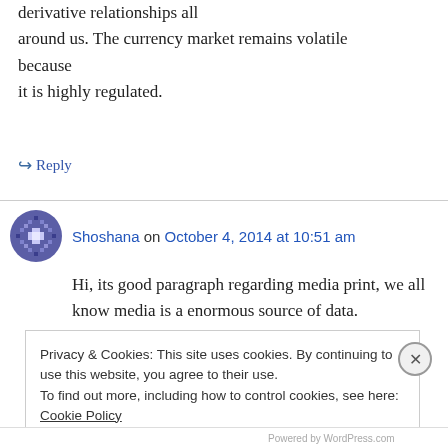derivative relationships all around us. The currency market remains volatile because it is highly regulated.
↳ Reply
Shoshana on October 4, 2014 at 10:51 am
Hi, its good paragraph regarding media print, we all know media is a enormous source of data.
Privacy & Cookies: This site uses cookies. By continuing to use this website, you agree to their use.
To find out more, including how to control cookies, see here: Cookie Policy
Close and accept